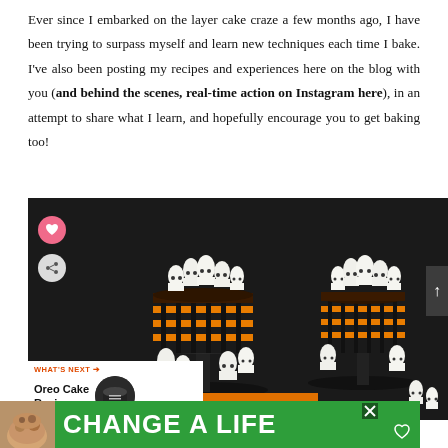Ever since I embarked on the layer cake craze a few months ago, I have been trying to surpass myself and learn new techniques each time I bake. I've also been posting my recipes and experiences here on the blog with you (and behind the scenes, real-time action on Instagram here), in an attempt to share what I learn, and hopefully encourage you to get baking too!
[Figure (photo): Two Halloween layer cakes decorated with ghost meringue toppers on black stands, against a dark background. The cakes have orange and black striped frosting sides with chocolate drip. Ghost meringues are arranged on top and around the base. Sidebar icons for heart/save and share are visible on the left. A 'WHAT'S NEXT' panel shows 'Oreo Cake Recipe'. A 'Halloween' orange banner is partially visible at the bottom.]
WHAT'S NEXT → Oreo Cake Recipe
Halloween
CHANGE A LIFE